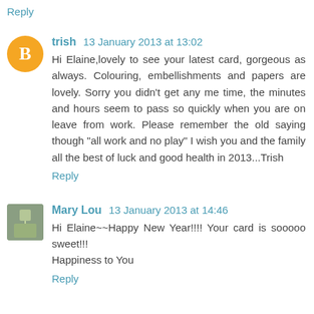Reply
trish 13 January 2013 at 13:02
Hi Elaine,lovely to see your latest card, gorgeous as always. Colouring, embellishments and papers are lovely. Sorry you didn't get any me time, the minutes and hours seem to pass so quickly when you are on leave from work. Please remember the old saying though "all work and no play" I wish you and the family all the best of luck and good health in 2013...Trish
Reply
Mary Lou 13 January 2013 at 14:46
Hi Elaine~~Happy New Year!!!! Your card is sooooo sweet!!!
Happiness to You
Reply